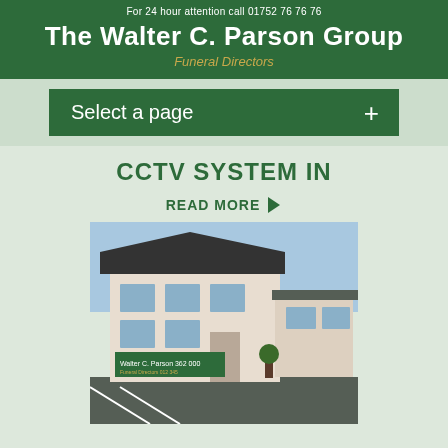For 24 hour attention call 01752 76 76 76
The Walter C. Parson Group
Funeral Directors
Select a page +
CCTV SYSTEM IN
READ MORE
[Figure (photo): Exterior photo of The Walter C. Parson Group funeral directors building, a two-storey cream/white building with signage reading Walter C. Parson 362 000 Funeral Directors, with a car park in front.]